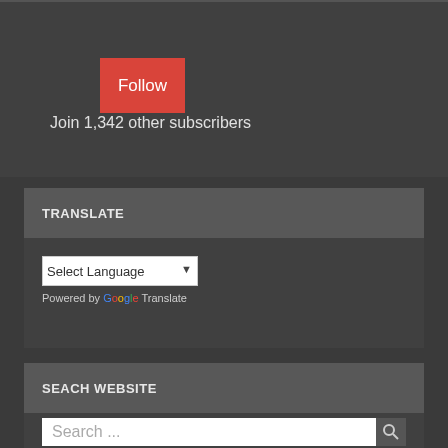[Figure (screenshot): Red Follow button on dark background]
Join 1,342 other subscribers
TRANSLATE
[Figure (screenshot): Select Language dropdown with Google Translate branding]
Powered by Google Translate
SEACH WEBSITE
[Figure (screenshot): Search box with placeholder text 'Search ...' and search icon]